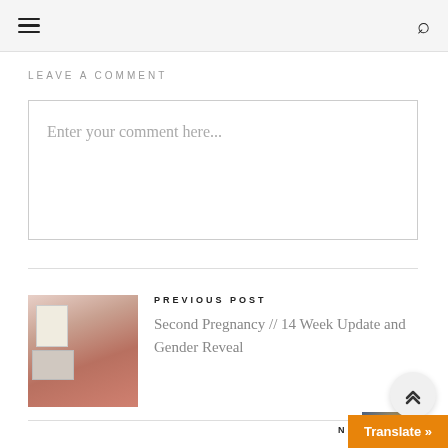navigation header with hamburger menu and search icon
LEAVE A COMMENT
Enter your comment here...
[Figure (photo): Previous post thumbnail: person in red cardigan and floral dress standing in front of a wall with papers]
PREVIOUS POST
Second Pregnancy // 14 Week Update and Gender Reveal
NEXT POST
Second Pregnancy // 20 Week Upda...